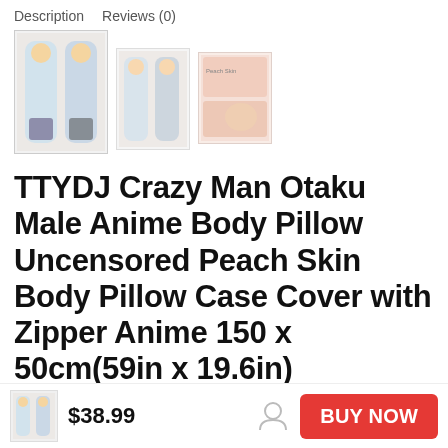Description   Reviews (0)
[Figure (photo): Product thumbnail images: main image showing two anime body pillow covers with blonde characters, second thumbnail showing two more pillow covers, third thumbnail showing product packaging in pink/peach tones]
TTYDJ Crazy Man Otaku Male Anime Body Pillow Uncensored Peach Skin Body Pillow Case Cover with Zipper Anime 150 x 50cm(59in x 19.6in)
$38.99
BUY NOW